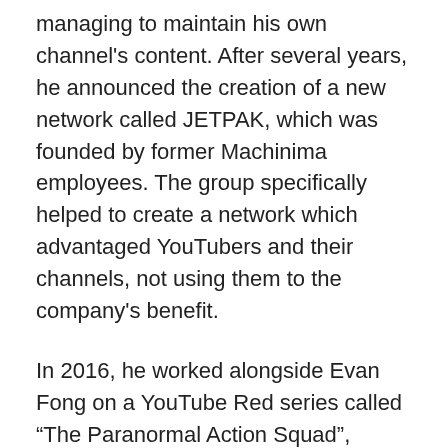managing to maintain his own channel's content. After several years, he announced the creation of a new network called JETPAK, which was founded by former Machinima employees. The group specifically helped to create a network which advantaged YouTubers and their channels, not using them to the company's benefit.
In 2016, he worked alongside Evan Fong on a YouTube Red series called “The Paranormal Action Squad”, which is an animated adult comedy. He played the character Paul in the show and it was written by “Michael Rowe” who is known for his work in “Futurama”.